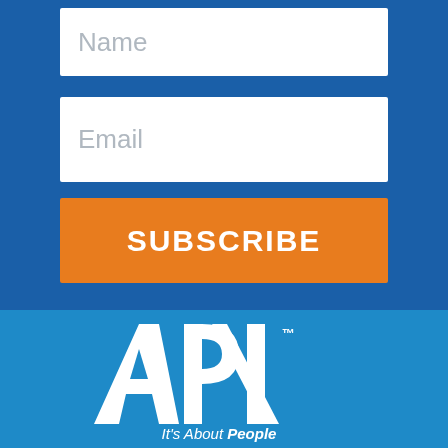Name
Email
SUBSCRIBE
By submitting your information you acknowledge that you may sent emails including marketing material. Your information is secure and never shared with anyone. Click here to view our Privacy Policy for more information.
[Figure (logo): API logo with text 'It's About People' on blue background]